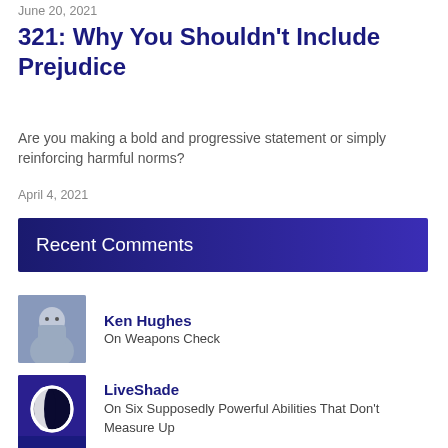June 20, 2021
321: Why You Shouldn't Include Prejudice
Are you making a bold and progressive statement or simply reinforcing harmful norms?
April 4, 2021
Recent Comments
Ken Hughes
On Weapons Check
LiveShade
On Six Supposedly Powerful Abilities That Don't Measure Up
Eli...